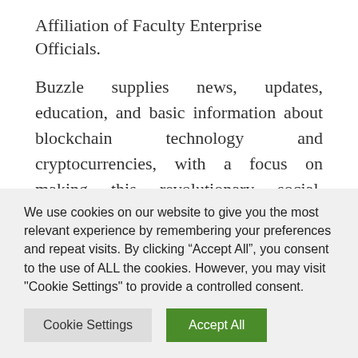Affiliation of Faculty Enterprise Officials.
Buzzle supplies news, updates, education, and basic information about blockchain technology and cryptocurrencies, with a focus on making this revolutionary social, monetary, and technological phenomenon simple for everybody to learn about and perceive. American Training Week helps us acknowledge that we’re privileged to access training simply. Schooling Galaxy is built a hundred% to your
We use cookies on our website to give you the most relevant experience by remembering your preferences and repeat visits. By clicking “Accept All”, you consent to the use of ALL the cookies. However, you may visit "Cookie Settings" to provide a controlled consent.